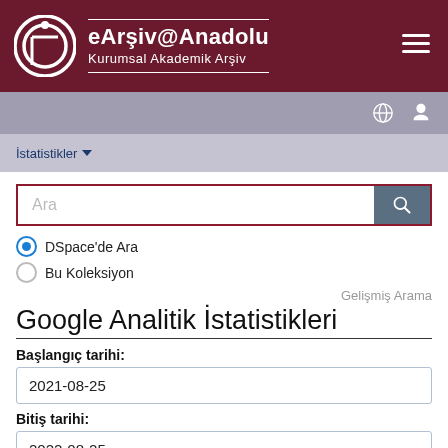eArşiv@Anadolu Kurumsal Akademik Arşiv
İstatistikler
Ara
DSpace'de Ara
Bu Koleksiyon
Gelişmiş Arama
Google Analitik İstatistikleri
Başlangıç tarihi:
2021-08-25
Bitiş tarihi:
2022-08-25